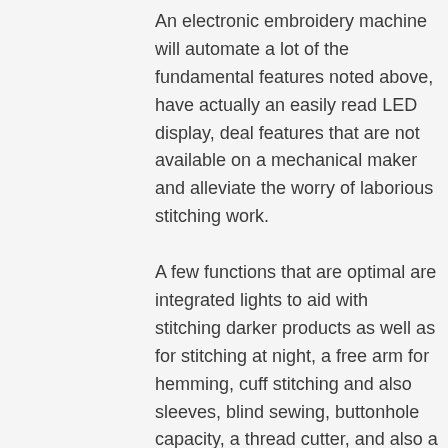An electronic embroidery machine will automate a lot of the fundamental features noted above, have actually an easily read LED display, deal features that are not available on a mechanical maker and alleviate the worry of laborious stitching work.
A few functions that are optimal are integrated lights to aid with stitching darker products as well as for stitching at night, a free arm for hemming, cuff stitching and also sleeves, blind sewing, buttonhole capacity, a thread cutter, and also a needle threader.
A range of adaptable presser feet are invaluable to control exactly how the